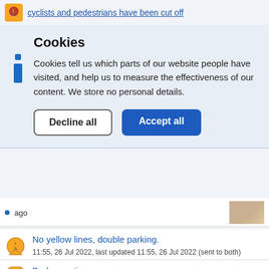cyclists and pedestrians have been cut off
Cookies
Cookies tell us which parts of our website people have visited, and help us to measure the effectiveness of our content. We store no personal details.
Decline all | Accept all
ago
No yellow lines, double parking.
11:55, 26 Jul 2022, last updated 11:55, 26 Jul 2022 (sent to both)
Broken nation